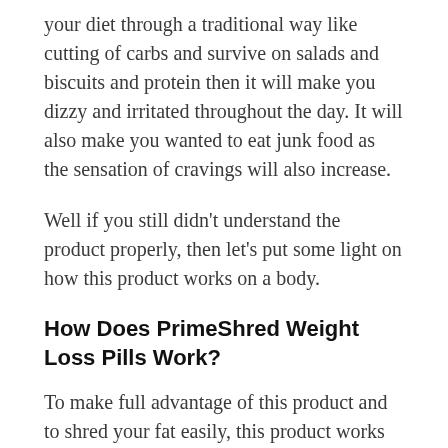your diet through a traditional way like cutting of carbs and survive on salads and biscuits and protein then it will make you dizzy and irritated throughout the day. It will also make you wanted to eat junk food as the sensation of cravings will also increase.
Well if you still didn't understand the product properly, then let's put some light on how this product works on a body.
How Does PrimeShred Weight Loss Pills Work?
To make full advantage of this product and to shred your fat easily, this product works in 3 stages. At the first stage, it starts breaking down the fat storage cells which are present